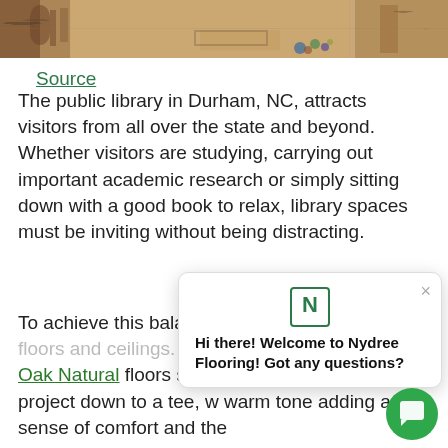[Figure (photo): Interior photo of a public library or open workspace with wooden floors, chairs, and colorful objects on the floor]
Source
The public library in Durham, NC, attracts visitors from all over the state and beyond. Whether visitors are studying, carrying out important academic research or simply sitting down with a good book to relax, library spaces must be inviting without being distracting.
To achieve this balance chosen as a material for floors and ceilings. Our Rift and Quartered White Oak Natural floors suited the requirements of this project down to a tee, warm tone adding a sense of comfort and the